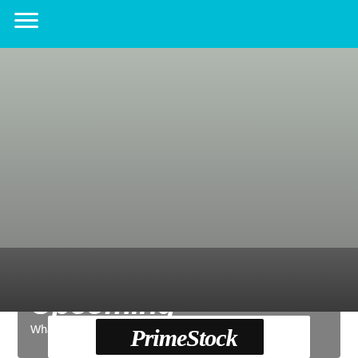[Figure (photo): Outdoor amphitheatre stage at night with Prime Stock Theatre Company logo in upper right. Stage shows colorful market stalls with striped awnings and performers. Audience silhouettes visible in foreground. Black and white toned photo.]
Upcoming
What we have in the works!
[Figure (logo): Prime Stock Theatre Company logo in black and white script lettering]